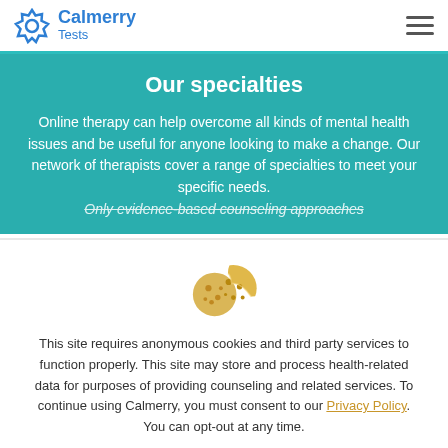Calmerry Tests
Our specialties
Online therapy can help overcome all kinds of mental health issues and be useful for anyone looking to make a change. Our network of therapists cover a range of specialties to meet your specific needs. Only evidence-based counseling approaches
[Figure (illustration): Cookie icon — two cookies with chocolate chips, one with a bite taken out]
This site requires anonymous cookies and third party services to function properly. This site may store and process health-related data for purposes of providing counseling and related services. To continue using Calmerry, you must consent to our Privacy Policy. You can opt-out at any time.